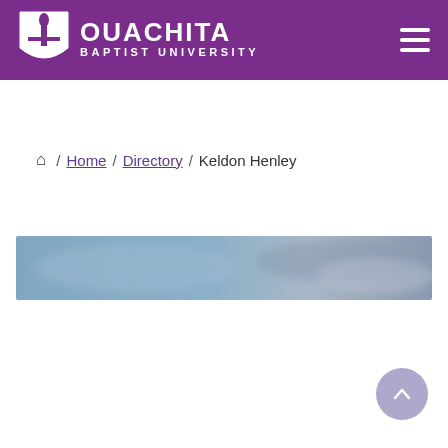[Figure (logo): Ouachita Baptist University logo with purple shield and flame/cross emblem, white text reading OUACHITA BAPTIST UNIVERSITY on purple background with hamburger menu icon]
Home / Directory / Keldon Henley
[Figure (photo): Wide horizontal photo banner with a blurred blue and grey sky/background]
[Figure (other): Scroll-to-top button, circular, light purple with upward chevron arrow]